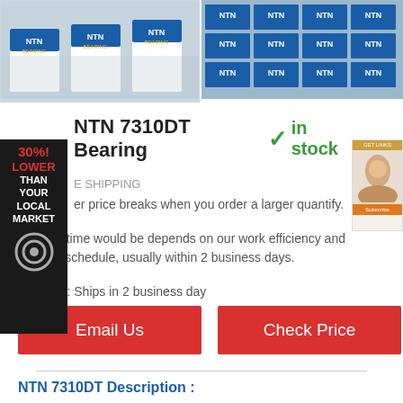[Figure (photo): Two photos of NTN bearing boxes arranged on a surface, left photo shows 3 boxes, right photo shows multiple NTN boxes stacked]
[Figure (infographic): Dark side banner with red text '30%! LOWER THAN YOUR LOCAL MARKET' and bearing icon]
[Figure (photo): Small advertisement banner on the right showing a woman's face and orange subscribe button]
NTN 7310DT Bearing
✓ in stock
FREE SHIPPING
Lower price breaks when you order a larger quantify.
Leading time would be depends on our work efficiency and delivery schedule, usually within 2 business days.
Shipping: Ships in 2 business day
Email Us
Check Price
NTN 7310DT Description :